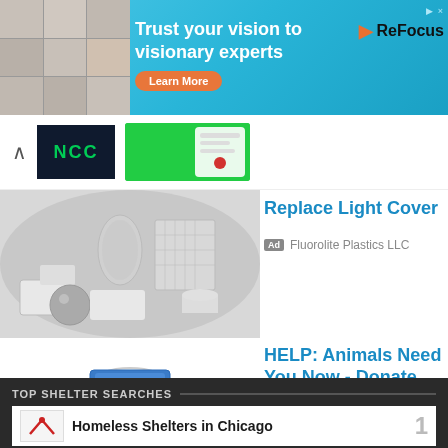[Figure (screenshot): Banner advertisement with people headshots, teal background, 'Trust your vision to visionary experts' text, Learn More button, and ReFocus logo]
[Figure (screenshot): Navigation strip with up arrow, dark logo with green NCC text, and app preview screenshot]
[Figure (photo): Product photo of plastic light covers and various plastic shapes on white background]
Replace Light Cover
Ad Fluorolite Plastics LLC
[Figure (photo): Photo of a glass jar with money and a blue bow, donation jar]
HELP: Animals Need You Now - Donate Now
Ad americanhumane.org
TOP SHELTER SEARCHES
Homeless Shelters in Chicago